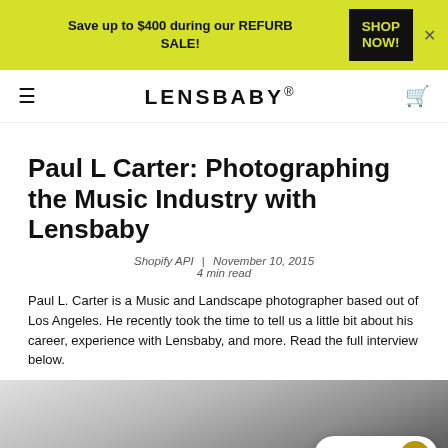Save up to $400 during our REFURB SALE! | SHOP NOW! ×
LENSBABY®
Paul L Carter: Photographing the Music Industry with Lensbaby
Shopify API | November 10, 2015
4 min read
Paul L. Carter is a Music and Landscape photographer based out of Los Angeles. He recently took the time to tell us a little bit about his career, experience with Lensbaby, and more. Read the full interview below.
[Figure (photo): Black and white photo of a musician, partially visible, with a Rewards button overlay in the lower right corner.]